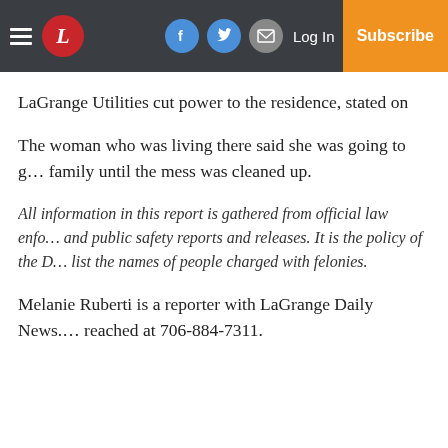LaGrange Daily News — Log In | Subscribe
LaGrange Utilities cut power to the residence, stated on…
The woman who was living there said she was going to go stay with family until the mess was cleaned up.
All information in this report is gathered from official law enforcement and public safety reports and releases. It is the policy of the D… list the names of people charged with felonies.
Melanie Ruberti is a reporter with LaGrange Daily News. She can be reached at 706-884-7311.